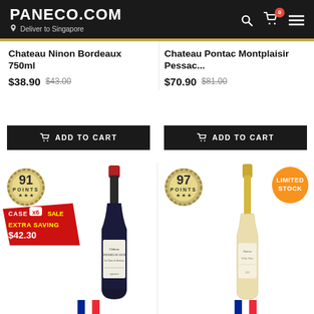PANECO.COM | Deliver to Singapore
Chateau Ninon Bordeaux 750ml
$38.90 $43.00
Chateau Pontac Montplaisir Pessac...
$70.90 $81.00
ADD TO CART
ADD TO CART
[Figure (photo): Red wine bottle: Chateau Ronderes de Jolins with 91 points badge and Case x6 Sale Extra Saving $42.30 label]
[Figure (photo): White/rosé wine bottle with 97 points badge and Limited Stock orange badge]